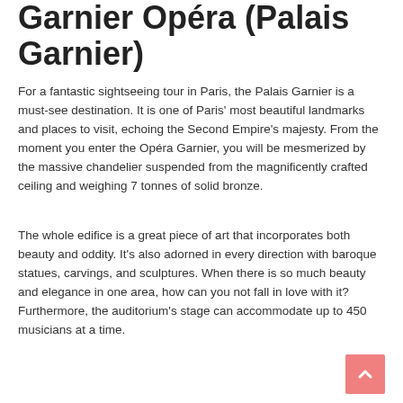Garnier Opéra (Palais Garnier)
For a fantastic sightseeing tour in Paris, the Palais Garnier is a must-see destination. It is one of Paris' most beautiful landmarks and places to visit, echoing the Second Empire's majesty. From the moment you enter the Opéra Garnier, you will be mesmerized by the massive chandelier suspended from the magnificently crafted ceiling and weighing 7 tonnes of solid bronze.
The whole edifice is a great piece of art that incorporates both beauty and oddity. It's also adorned in every direction with baroque statues, carvings, and sculptures. When there is so much beauty and elegance in one area, how can you not fall in love with it? Furthermore, the auditorium's stage can accommodate up to 450 musicians at a time.